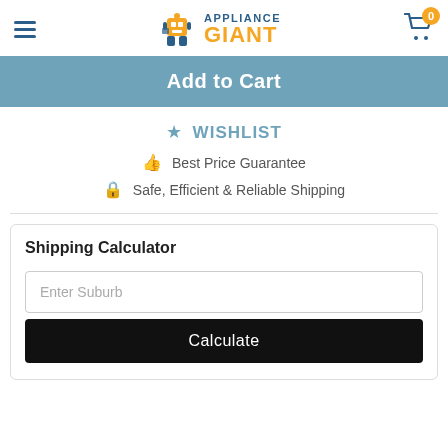Appliance Giant — navigation header with hamburger menu and cart (0 items)
Add to Cart
WISHLIST
Best Price Guarantee
Safe, Efficient & Reliable Shipping
Shipping Calculator
Enter Suburb
Calculate